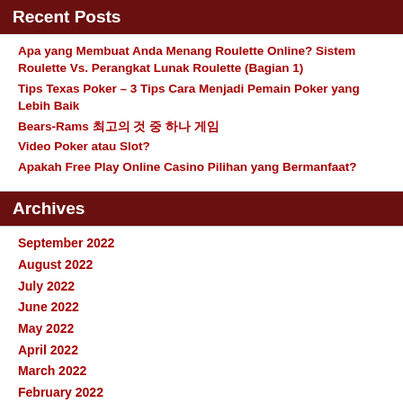Recent Posts
Apa yang Membuat Anda Menang Roulette Online? Sistem Roulette Vs. Perangkat Lunak Roulette (Bagian 1)
Tips Texas Poker – 3 Tips Cara Menjadi Pemain Poker yang Lebih Baik
Bears-Rams 최고의 것 중 하나 게임
Video Poker atau Slot?
Apakah Free Play Online Casino Pilihan yang Bermanfaat?
Archives
September 2022
August 2022
July 2022
June 2022
May 2022
April 2022
March 2022
February 2022
January 2022
December 2021
November 2021
October 2021